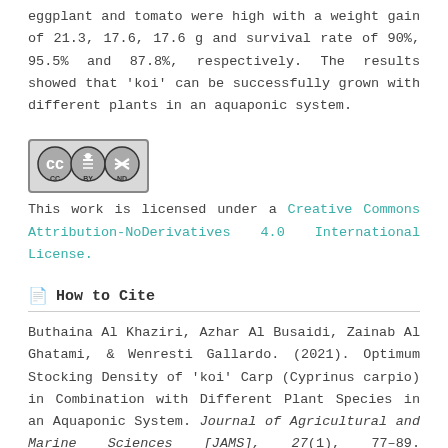eggplant and tomato were high with a weight gain of 21.3, 17.6, 17.6 g and survival rate of 90%, 95.5% and 87.8%, respectively. The results showed that 'koi' can be successfully grown with different plants in an aquaponic system.
[Figure (logo): Creative Commons CC BY-ND license badge]
This work is licensed under a Creative Commons Attribution-NoDerivatives 4.0 International License.
How to Cite
Buthaina Al Khaziri, Azhar Al Busaidi, Zainab Al Ghatami, & Wenresti Gallardo. (2021). Optimum Stocking Density of 'koi' Carp (Cyprinus carpio) in Combination with Different Plant Species in an Aquaponic System. Journal of Agricultural and Marine Sciences [JAMS], 27(1), 77–89. https://doi.org/10.53541/jams.vol27iss1pp77-89